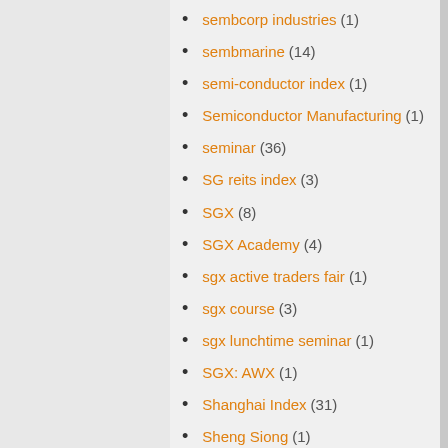sembcorp industries (1)
sembmarine (14)
semi-conductor index (1)
Semiconductor Manufacturing (1)
seminar (36)
SG reits index (3)
SGX (8)
SGX Academy (4)
sgx active traders fair (1)
sgx course (3)
sgx lunchtime seminar (1)
SGX: AWX (1)
Shanghai Index (31)
Sheng Siong (1)
short term trading (1)
SIA (2)
SIA Engineering (2)
sia rights (1)
SIIC (6)